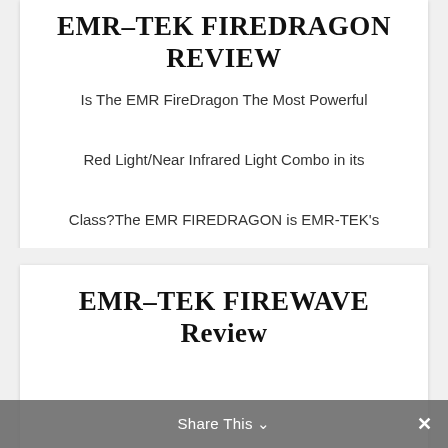EMR-TEK FIREDRAGON REVIEW
Is The EMR FireDragon The Most Powerful Red Light/Near Infrared Light Combo in its Class?The EMR FIREDRAGON is EMR-TEK's newest...
Read More
EMR-TEK FIREWAVE Review
Share This ∨  ✕